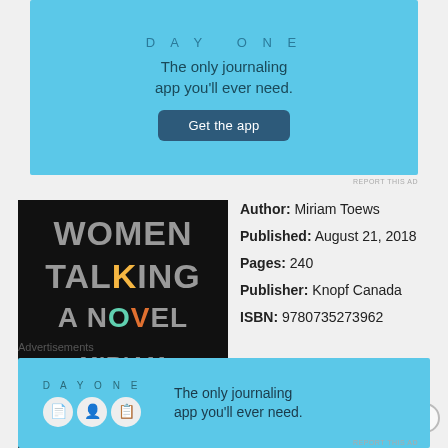[Figure (screenshot): Day One journaling app advertisement with blue background. Shows 'DAY ONE' logo text, tagline 'The only journaling app you'll ever need.' and a 'Get the app' button.]
REPORT THIS AD
[Figure (photo): Book cover of 'Women Talking: A Novel' by Miriam Toews. Black background with large grey letters spelling WOMEN TALKING A NOVEL with colorful accented letters (yellow K, pink L, teal O, orange V).]
Author: Miriam Toews
Published: August 21, 2018
Pages: 240
Publisher: Knopf Canada
ISBN: 9780735273962
Advertisements
[Figure (screenshot): Day One journaling app advertisement banner at bottom. Shows DAY ONE logo, three character icons, and tagline 'The only journaling app you'll ever need.']
REPORT THIS AD